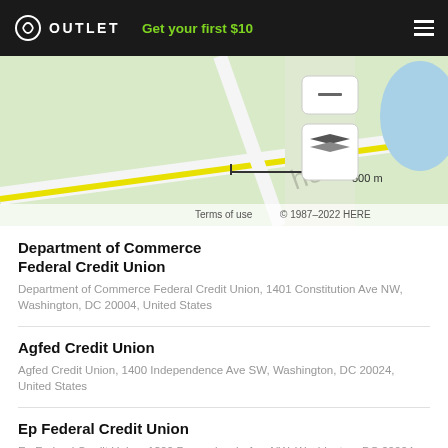OUTLET  Get your first $10
[Figure (map): HERE map showing Washington DC area with scale bar (500 m) and layer controls. Terms of use © 1987–2022 HERE]
Department of Commerce Federal Credit Union
Department of Commerce Federal Credit Union, 1401 Constitution Ave NW, Washington, DC 20004, United States
Agfed Credit Union
Agfed Credit Union, 1400 Independence Ave SW, Washington, DC 20024, United States
Ep Federal Credit Union
Ep Federal Credit Union, 1300 Pennsylvania Ave NW, Washington, DC 20004, United States